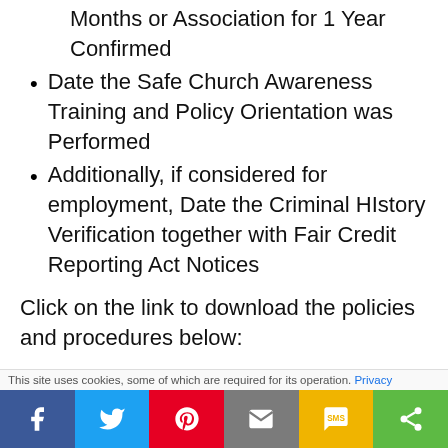Months or Association for 1 Year Confirmed
Date the Safe Church Awareness Training and Policy Orientation was Performed
Additionally, if considered for employment, Date the Criminal HIstory Verification together with Fair Credit Reporting Act Notices
Click on the link to download the policies and procedures below:
This site uses cookies, some of which are required for its operation. Privacy